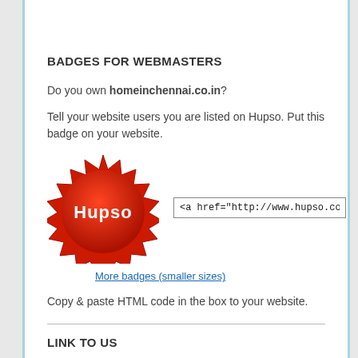BADGES FOR WEBMASTERS
Do you own homeinchennai.co.in?
Tell your website users you are listed on Hupso. Put this badge on your website.
[Figure (logo): Red starburst/seal badge with 'Hupso' text in white, alongside an HTML code input box showing '<a href="http://www.hupso.com/h']
More badges (smaller sizes)
Copy & paste HTML code in the box to your website.
LINK TO US